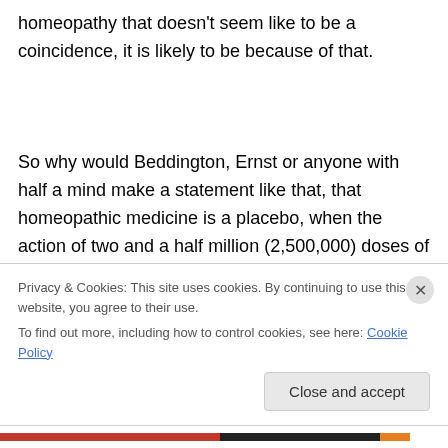homeopathy that doesn't seem like to be a coincidence, it is likely to be because of that.
So why would Beddington, Ernst or anyone with half a mind make a statement like that, that homeopathic medicine is a placebo, when the action of two and a half million (2,500,000) doses of homeopathic medicine was reportedly seen in Cuba to stop epidemic of
Privacy & Cookies: This site uses cookies. By continuing to use this website, you agree to their use.
To find out more, including how to control cookies, see here: Cookie Policy